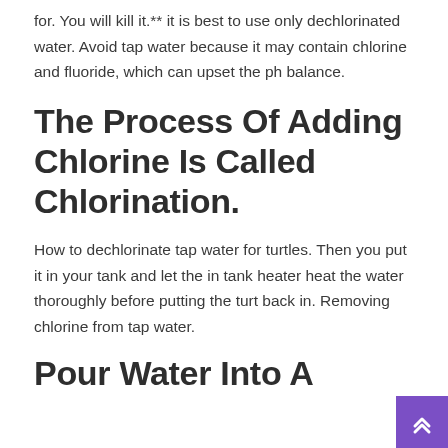for. You will kill it.** it is best to use only dechlorinated water. Avoid tap water because it may contain chlorine and fluoride, which can upset the ph balance.
The Process Of Adding Chlorine Is Called Chlorination.
How to dechlorinate tap water for turtles. Then you put it in your tank and let the in tank heater heat the water thoroughly before putting the turt back in. Removing chlorine from tap water.
Pour Water Into A